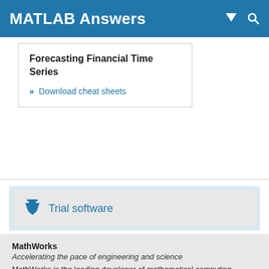MATLAB Answers
Forecasting Financial Time Series
» Download cheat sheets
Trial software
MathWorks
Accelerating the pace of engineering and science
MathWorks is the leading developer of mathematical computing software